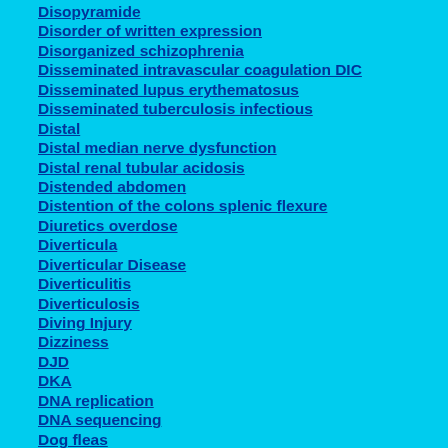Disopyramide
Disorder of written expression
Disorganized schizophrenia
Disseminated intravascular coagulation DIC
Disseminated lupus erythematosus
Disseminated tuberculosis infectious
Distal
Distal median nerve dysfunction
Distal renal tubular acidosis
Distended abdomen
Distention of the colons splenic flexure
Diuretics overdose
Diverticula
Diverticular Disease
Diverticulitis
Diverticulosis
Diving Injury
Dizziness
DJD
DKA
DNA replication
DNA sequencing
Dog fleas
Dolichostenomelia
Dominant and recessive epidermolysis bullosa
Donath-Landsteiner test